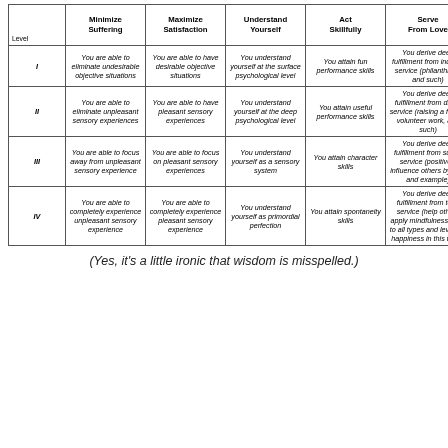| Level | Minimize Suffering | Maximize Satisfaction | Understand Yourself | Act Skillfully | Serve From Love |
| --- | --- | --- | --- | --- | --- |
| I | You are able to eliminate undesirable objective situations | You are able to have desirable objective situations | You understand yourself at the surface psychological level | You attain fun performance skills | You derive deep fulfillment from indirect service (philanthropy and such) |
| II | You are able to eliminate unpleasant sensory experiences | You are able to have pleasant sensory experiences | You understand yourself at the deep psychological level | You attain useful performance skills | You derive deep fulfillment from direct service (raising a family, volunteer work, and such) |
| III | You are able to focus away from unpleasant sensory experience | You are able to focus on pleasant sensory experiences | You understand yourself as a sensory system | You attain character skills | You derive deep fulfillment from subtle service (positively influence others by vibe and example) |
| IV | You are able to completely experience unpleasant sensory experience | You are able to completely experience pleasant sensory experience | You understand yourself as primordial perfection | You attain spontaneity skills | You derive deep fulfillment from total service (help others apply mindfulness skills to all types and levels of happiness in this table) |
(Yes, it's a little ironic that wisdom is misspelled.)